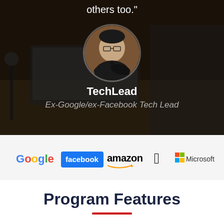others too."
[Figure (photo): Circular profile photo of TechLead (Asian man with glasses, in dark jacket) overlaid on a dark background showing a desk/laptop scene]
TechLead
Ex-Google/ex-Facebook Tech Lead
[Figure (logo): Company logos row: Google, Facebook, Amazon, Apple, Microsoft]
Program Features